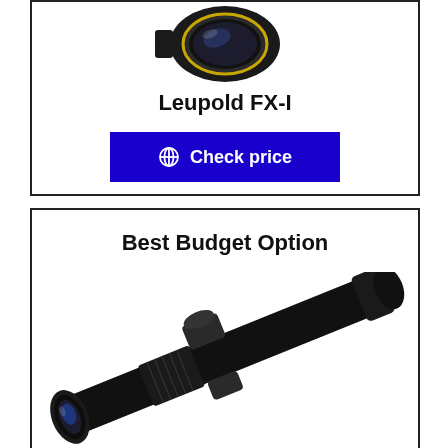[Figure (photo): Leupold FX-I rifle scope lens/objective end, close-up photo on white background]
Leupold FX-I
[Figure (other): Blue 'Check price' button with globe icon]
Best Budget Option
[Figure (photo): Black rifle scope angled diagonally, full scope view showing turrets and objective, on white background]